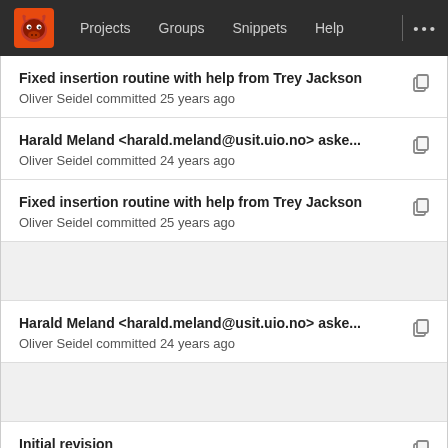Projects  Groups  Snippets  Help
Fixed insertion routine with help from Trey Jackson
Oliver Seidel committed 25 years ago
Harald Meland <harald.meland@usit.uio.no> aske...
Oliver Seidel committed 24 years ago
Fixed insertion routine with help from Trey Jackson
Oliver Seidel committed 25 years ago
Harald Meland <harald.meland@usit.uio.no> aske...
Oliver Seidel committed 24 years ago
Initial revision
Oliver Seidel committed 25 years ago